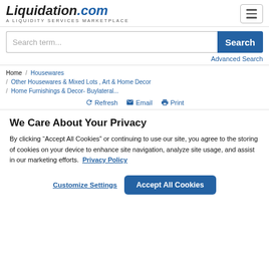Liquidation.com - A LIQUIDITY SERVICES MARKETPLACE
[Figure (screenshot): Search bar with placeholder 'Search term...' and blue Search button]
Advanced Search
Home / Housewares / Other Housewares & Mixed Lots , Art & Home Decor / Home Furnishings & Decor- Buylateral...
Refresh Email Print
We Care About Your Privacy
By clicking “Accept All Cookies” or continuing to use our site, you agree to the storing of cookies on your device to enhance site navigation, analyze site usage, and assist in our marketing efforts. Privacy Policy
Customize Settings  Accept All Cookies